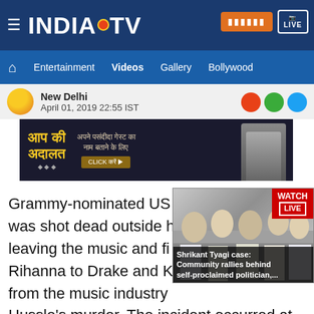INDIA TV — Navigation bar with Entertainment, Videos, Gallery, Bollywood
New Delhi
April 01, 2019 22:55 IST
[Figure (photo): Aap Ki Adalat advertisement banner in Hindi with show host photo]
Grammy-nominated US rapper was shot dead outside his leaving the music and film Rihanna to Drake and K from the music industry Hussle's murder. The incident occurred at 3.20 p.m. on Sunday near a clothing store associated with the rapper, around Slauson Avenue and Crenshaw
[Figure (screenshot): Video overlay: Shrikant Tyagi case: Community rallies behind self-proclaimed politician,... with WATCH LIVE badge]